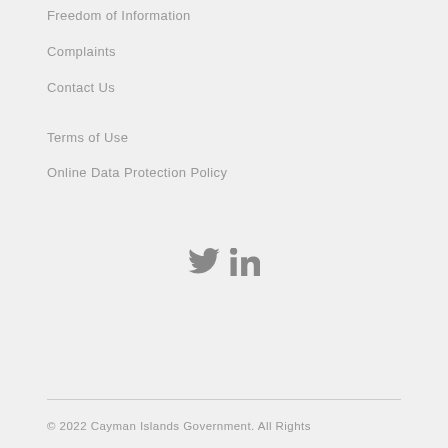Freedom of Information
Complaints
Contact Us
Terms of Use
Online Data Protection Policy
[Figure (other): Twitter and LinkedIn social media icons in grey]
© 2022 Cayman Islands Government. All Rights